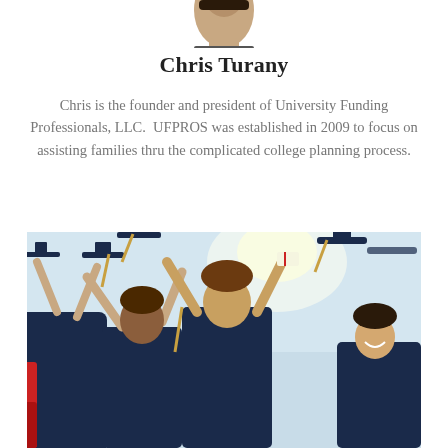[Figure (photo): Partial top of a person's head/photo (cropped profile photo of Chris Turany)]
Chris Turany
Chris is the founder and president of University Funding Professionals, LLC.  UFPROS was established in 2009 to focus on assisting families thru the complicated college planning process.
[Figure (photo): Graduation photo showing students in dark blue caps and gowns tossing their graduation caps into the air against a light blue sky, smiling and celebrating.]